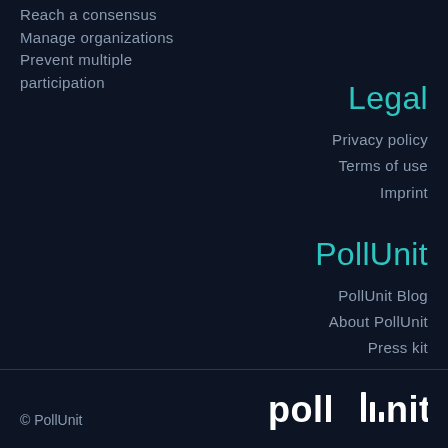Reach a consensus
Manage organizations
Prevent multiple participation
Legal
Privacy policy
Terms of use
Imprint
PollUnit
PollUnit Blog
About PollUnit
Press kit
© PollUnit
[Figure (logo): PollUnit logo in white with stylized 'l' characters forming a bar chart shape]